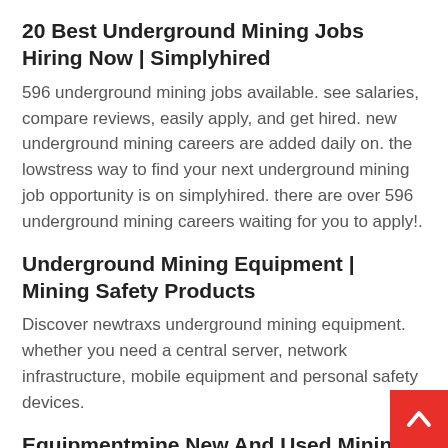20 Best Underground Mining Jobs Hiring Now | Simplyhired
596 underground mining jobs available. see salaries, compare reviews, easily apply, and get hired. new underground mining careers are added daily on. the lowstress way to find your next underground mining job opportunity is on simplyhired. there are over 596 underground mining careers waiting for you to apply!.
Underground Mining Equipment | Mining Safety Products
Discover newtraxs underground mining equipment. whether you need a central server, network infrastructure, mobile equipment and personal safety devices.
Equipmentmine New And Used Mining Equipment